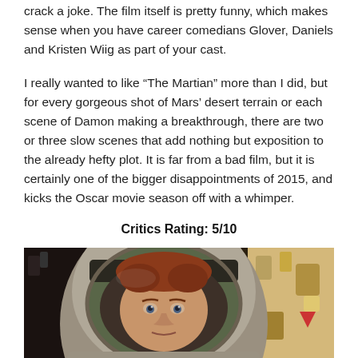crack a joke. The film itself is pretty funny, which makes sense when you have career comedians Glover, Daniels and Kristen Wiig as part of your cast.
I really wanted to like “The Martian” more than I did, but for every gorgeous shot of Mars’ desert terrain or each scene of Damon making a breakthrough, there are two or three slow scenes that add nothing but exposition to the already hefty plot. It is far from a bad film, but it is certainly one of the bigger disappointments of 2015, and kicks the Oscar movie season off with a whimper.
Critics Rating: 5/10
[Figure (photo): Close-up photo of a person wearing a space helmet/astronaut suit with a transparent visor, reddish hair visible through the visor, futuristic mechanical equipment visible in the background.]